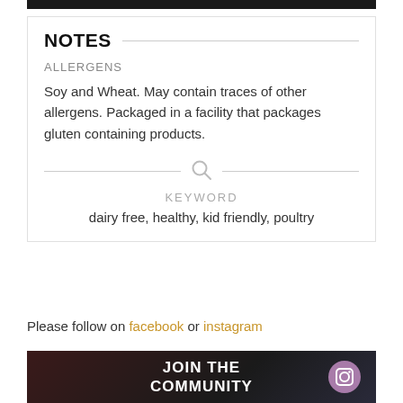NOTES
ALLERGENS
Soy and Wheat. May contain traces of other allergens. Packaged in a facility that packages gluten containing products.
KEYWORD
dairy free, healthy, kid friendly, poultry
Please follow on facebook or instagram
[Figure (photo): JOIN THE COMMUNITY banner with Instagram icon]